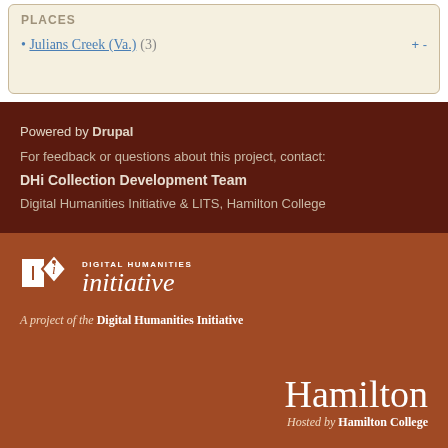Julians Creek (Va.) (3)
Powered by Drupal
For feedback or questions about this project, contact:
DHi Collection Development Team
Digital Humanities Initiative & LITS, Hamilton College
[Figure (logo): DHi Digital Humanities Initiative logo with stylized DH diamond icon and text]
A project of the Digital Humanities Initiative
[Figure (logo): Hamilton wordmark with 'Hosted by Hamilton College' subtitle]